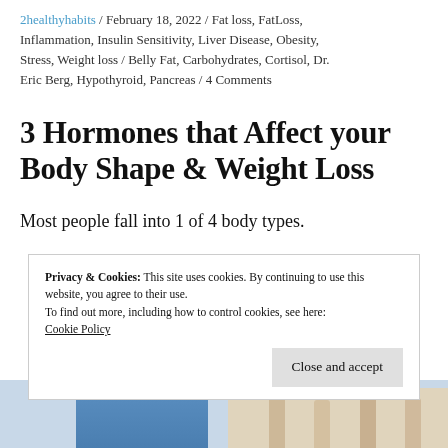2healthyhabits / February 18, 2022 / Fat loss, FatLoss, Inflammation, Insulin Sensitivity, Liver Disease, Obesity, Stress, Weight loss / Belly Fat, Carbohydrates, Cortisol, Dr. Eric Berg, Hypothyroid, Pancreas / 4 Comments
3 Hormones that Affect your Body Shape & Weight Loss
Most people fall into 1 of 4 body types.
[Figure (photo): Partial image strip at bottom showing a circular avatar/head and body type illustrations]
Privacy & Cookies: This site uses cookies. By continuing to use this website, you agree to their use.
To find out more, including how to control cookies, see here: Cookie Policy

Close and accept